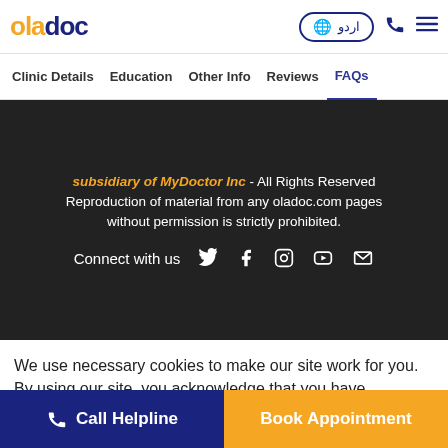oladoc — navigation header with logo, language selector (اردو), phone icon, and menu icon
Clinic Details | Education | Other Info | Reviews | FAQs (active)
subsidiary of MyDoctor Inc - All Rights Reserved Reproduction of material from any oladoc.com pages without permission is strictly prohibited.
Connect with us [Twitter] [Facebook] [Instagram] [YouTube] [Email]
We use necessary cookies to make our site work for you. By using our site, you acknowledge that you have understood our Cookie Policy OK
Call Helpline | Book Appointment